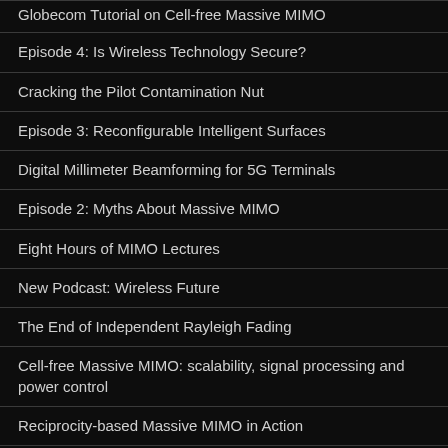Globecom Tutorial on Cell-free Massive MIMO
Episode 4: Is Wireless Technology Secure?
Cracking the Pilot Contamination Nut
Episode 3: Reconfigurable Intelligent Surfaces
Digital Millimeter Beamforming for 5G Terminals
Episode 2: Myths About Massive MIMO
Eight Hours of MIMO Lectures
New Podcast: Wireless Future
The End of Independent Rayleigh Fading
Cell-free Massive MIMO: scalability, signal processing and power control
Reciprocity-based Massive MIMO in Action
Active and Passive Antennas
Some Talk in MIMO Transmitter, Measurement of Performance B...